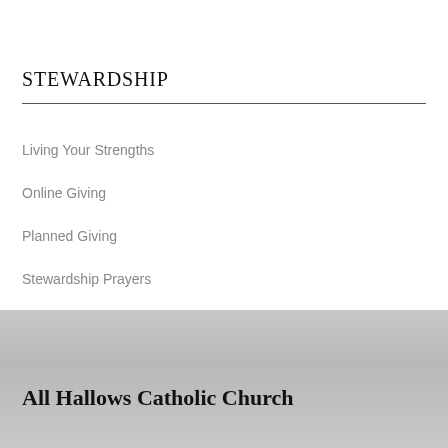STEWARDSHIP
Living Your Strengths
Online Giving
Planned Giving
Stewardship Prayers
All Hallows Catholic Church